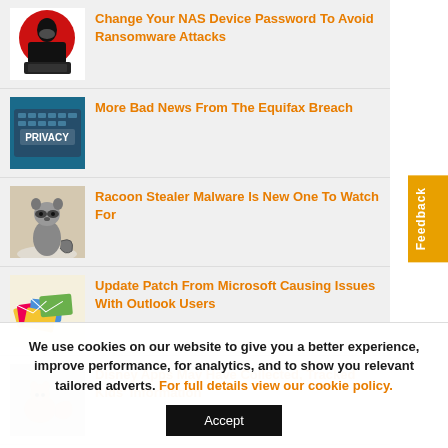Change Your NAS Device Password To Avoid Ransomware Attacks
More Bad News From The Equifax Breach
Racoon Stealer Malware Is New One To Watch For
Update Patch From Microsoft Causing Issues With Outlook Users
Disney Apps May Have Collected, Tracked Kids' Information
We use cookies on our website to give you a better experience, improve performance, for analytics, and to show you relevant tailored adverts. For full details view our cookie policy.
Accept